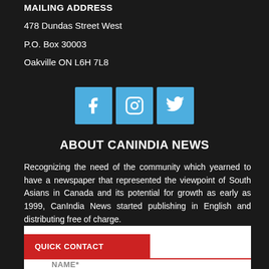MAILING ADDRESS
478 Dundas Street West
P.O. Box 30003
Oakville ON L6H 7L8
[Figure (infographic): Three social media icons (Facebook, Instagram, Twitter) displayed as blue squares]
ABOUT CANINDIA NEWS
Recognizing the need of the community which yearned to have a newspaper that represented the viewpoint of South Asians in Canada and its potential for growth as early as 1999, CanIndia News started publishing in English and distributing free of charge.
QUICK CONTACT
NAME*